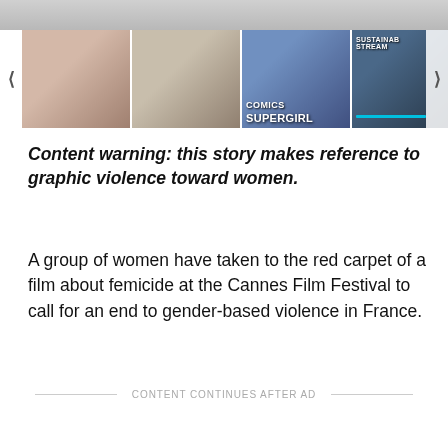[Figure (screenshot): Image carousel strip with navigation arrows, showing thumbnail images including people, a dramatic portrait, Supergirl comic art, and a sustainability stream thumbnail]
Content warning: this story makes reference to graphic violence toward women.
A group of women have taken to the red carpet of a film about femicide at the Cannes Film Festival to call for an end to gender-based violence in France.
CONTENT CONTINUES AFTER AD